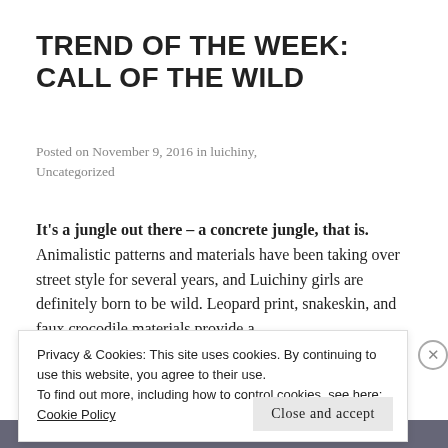TREND OF THE WEEK: CALL OF THE WILD
Posted on November 9, 2016 in luichiny, Uncategorized
It's a jungle out there – a concrete jungle, that is. Animalistic patterns and materials have been taking over street style for several years, and Luichiny girls are definitely born to be wild. Leopard print, snakeskin, and faux crocodile materials provide a
Privacy & Cookies: This site uses cookies. By continuing to use this website, you agree to their use.
To find out more, including how to control cookies, see here: Cookie Policy
Close and accept